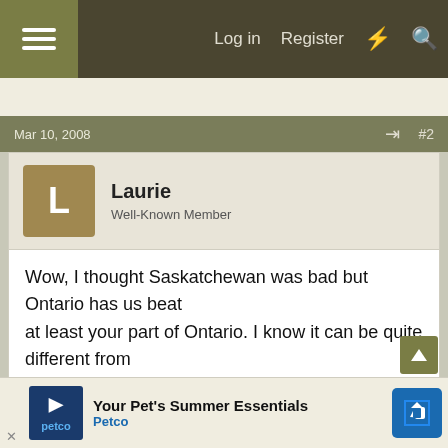Log in  Register
Mar 10, 2008   #2
Laurie
Well-Known Member
Wow, I thought Saskatchewan was bad but Ontario has us beat
at least your part of Ontario. I know it can be quite different from
area to area.
I have live and stayed in many places there.
Glad your shoveled out, but it sure is pretty. I always think if
we have to live with snow there may as well be lots of it. It's
the c...
Lauri...
[Figure (screenshot): Petco advertisement banner: 'Your Pet's Summer Essentials' with Petco logo and navigation arrow icon]